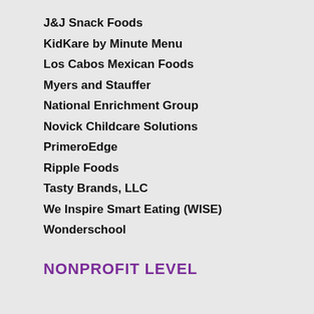J&J Snack Foods
KidKare by Minute Menu
Los Cabos Mexican Foods
Myers and Stauffer
National Enrichment Group
Novick Childcare Solutions
PrimeroEdge
Ripple Foods
Tasty Brands, LLC
We Inspire Smart Eating (WISE)
Wonderschool
NONPROFIT LEVEL